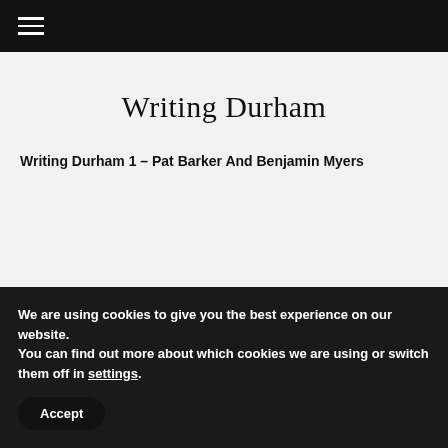≡
Writing Durham
Writing Durham 1 – Pat Barker And Benjamin Myers
We are using cookies to give you the best experience on our website.
You can find out more about which cookies we are using or switch them off in settings.
Accept